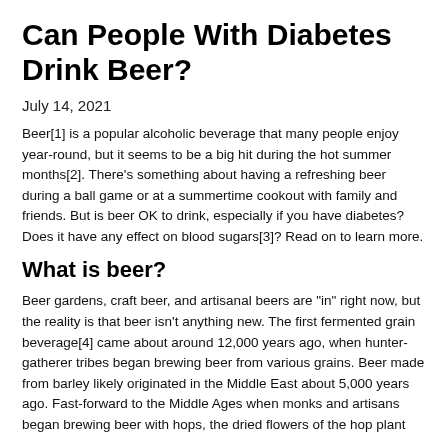Can People With Diabetes Drink Beer?
July 14, 2021
Beer[1] is a popular alcoholic beverage that many people enjoy year-round, but it seems to be a big hit during the hot summer months[2]. There’s something about having a refreshing beer during a ball game or at a summertime cookout with family and friends. But is beer OK to drink, especially if you have diabetes? Does it have any effect on blood sugars[3]? Read on to learn more.
What is beer?
Beer gardens, craft beer, and artisanal beers are “in” right now, but the reality is that beer isn’t anything new. The first fermented grain beverage[4] came about around 12,000 years ago, when hunter-gatherer tribes began brewing beer from various grains. Beer made from barley likely originated in the Middle East about 5,000 years ago. Fast-forward to the Middle Ages when monks and artisans began brewing beer with hops, the dried flowers of the hop plant